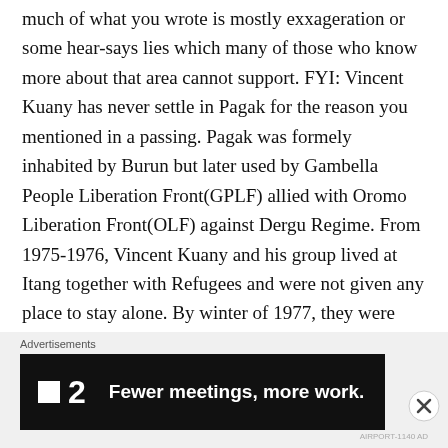much of what you wrote is mostly exxageration or some hear-says lies which many of those who know more about that area cannot support. FYI: Vincent Kuany has never settle in Pagak for the reason you mentioned in a passing. Pagak was formely inhabited by Burun but later used by Gambella People Liberation Front(GPLF) allied with Oromo Liberation Front(OLF) against Dergu Regime. From 1975-1976, Vincent Kuany and his group lived at Itang together with Refugees and were not given any place to stay alone. By winter of 1977, they were allowed to clear Bilpaam which
Advertisements
[Figure (other): Dark advertisement banner with logo showing a small white square and the number 2, with text 'Fewer meetings, more work.' in bold white letters on black background.]